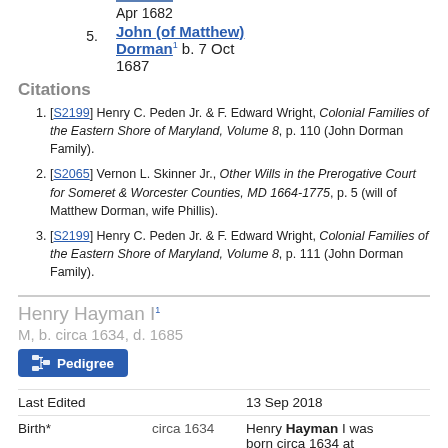Apr 1682
5. John (of Matthew) Dorman¹ b. 7 Oct 1687
Citations
1. [S2199] Henry C. Peden Jr. & F. Edward Wright, Colonial Families of the Eastern Shore of Maryland, Volume 8, p. 110 (John Dorman Family).
2. [S2065] Vernon L. Skinner Jr., Other Wills in the Prerogative Court for Someret & Worcester Counties, MD 1664-1775, p. 5 (will of Matthew Dorman, wife Phillis).
3. [S2199] Henry C. Peden Jr. & F. Edward Wright, Colonial Families of the Eastern Shore of Maryland, Volume 8, p. 111 (John Dorman Family).
Henry Hayman I¹
M, b. circa 1634, d. 1685
Pedigree
|  |  |  |
| --- | --- | --- |
| Last Edited |  | 13 Sep 2018 |
| Birth* | circa 1634 | Henry Hayman I was born circa 1634 at |